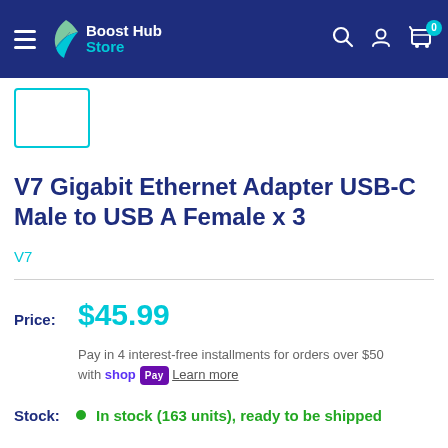Boost Hub Store — navigation header with hamburger menu, logo, search, account, and cart (0 items)
[Figure (screenshot): Small product thumbnail placeholder with teal border outline]
V7 Gigabit Ethernet Adapter USB-C Male to USB A Female x 3
V7
Price: $45.99
Pay in 4 interest-free installments for orders over $50 with Shop Pay Learn more
Stock: In stock (163 units), ready to be shipped